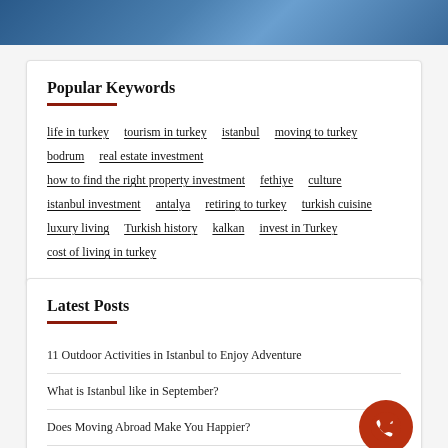[Figure (photo): Blue-toned banner image at top of page]
Popular Keywords
life in turkey
tourism in turkey
istanbul
moving to turkey
bodrum
real estate investment
how to find the right property investment
fethiye
culture
istanbul investment
antalya
retiring to turkey
turkish cuisine
luxury living
Turkish history
kalkan
invest in Turkey
cost of living in turkey
Latest Posts
11 Outdoor Activities in Istanbul to Enjoy Adventure
What is Istanbul like in September?
Does Moving Abroad Make You Happier?